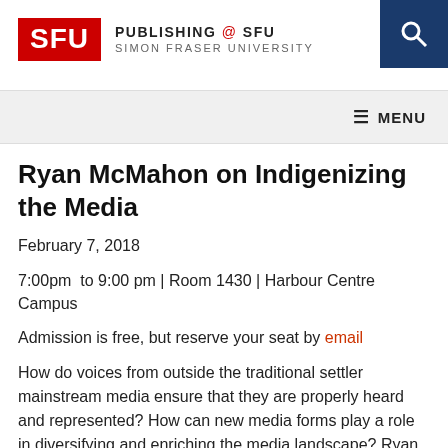PUBLISHING @ SFU SIMON FRASER UNIVERSITY
Ryan McMahon on Indigenizing the Media
February 7, 2018
7:00pm  to 9:00 pm | Room 1430 | Harbour Centre Campus
Admission is free, but reserve your seat by email
How do voices from outside the traditional settler mainstream media ensure that they are properly heard and represented? How can new media forms play a role in diversifying and enriching the media landscape? Ryan McMahon, Anishinaabe comedian, writer, media maker &